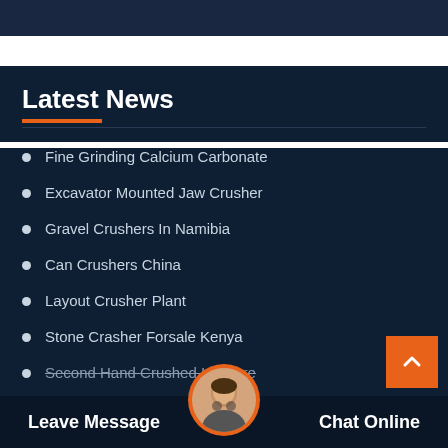Latest News
Fine Grinding Calcium Carbonate
Excavator Mounted Jaw Crusher
Gravel Crushers In Namibia
Can Crushers China
Layout Crusher Plant
Stone Crasher Forsale Kenya
Second Hand Crushed Iron Ore
Magnetic Bead Separation Ores
Leave Message    Chat Online